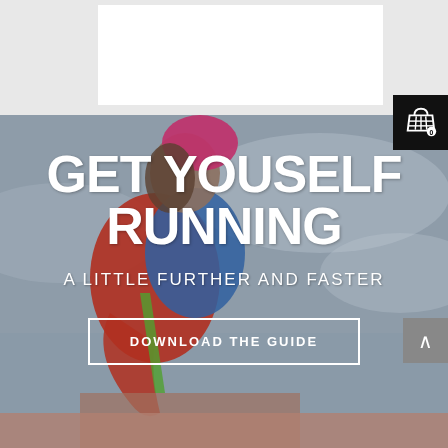[Figure (photo): Shopping cart icon on black background in top right corner]
[Figure (photo): Hero image of a runner wearing a red jacket, blue backpack, and pink hat, leaning forward against a grey foggy sky background]
GET YOUSELF RUNNING
A LITTLE FURTHER AND FASTER
DOWNLOAD THE GUIDE